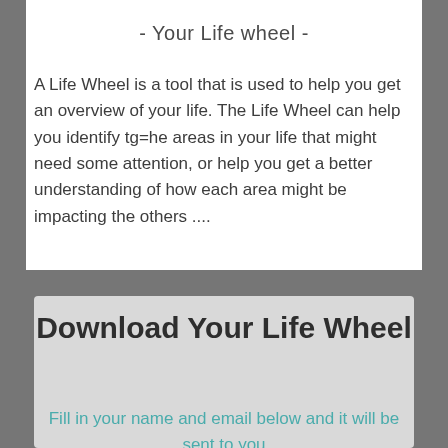- Your Life wheel -
A Life Wheel is a tool that is used to help you get an overview of your life. The Life Wheel can help you identify tg=he areas in your life that might need some attention, or help you get a better understanding of how each area might be impacting the others ....
Download Your Life Wheel
Fill in your name and email below and it will be sent to you